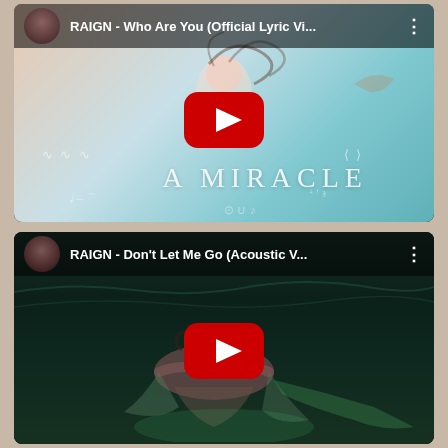[Figure (screenshot): YouTube video thumbnail for 'RAIGN - Who Are You (Official Lyric Vi...' showing a dreamy underwater/ethereal scene with pastel colors, a figure with flowing hair, text 'A MIRACLE', and YouTube play button overlay]
[Figure (screenshot): YouTube video thumbnail for 'RAIGN - Don't Let Me Go (Acoustic V...' showing a dark underwater scene with a figure floating, dark green/teal colors, and YouTube play button overlay]